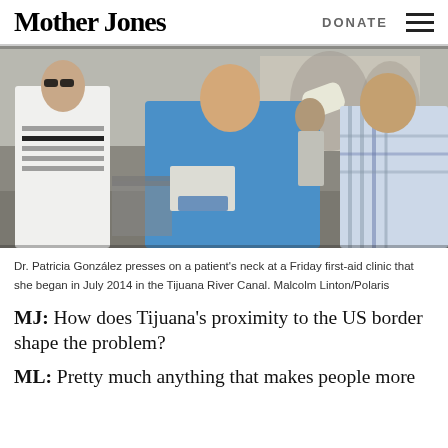Mother Jones   DONATE
[Figure (photo): A healthcare worker in blue scrubs and gloves presses on a patient's neck at an outdoor first-aid clinic. A man in a white coat stands to the left. Graffiti murals are visible in the background.]
Dr. Patricia González presses on a patient's neck at a Friday first-aid clinic that she began in July 2014 in the Tijuana River Canal. Malcolm Linton/Polaris
MJ: How does Tijuana's proximity to the US border shape the problem?
ML: Pretty much anything that makes people more